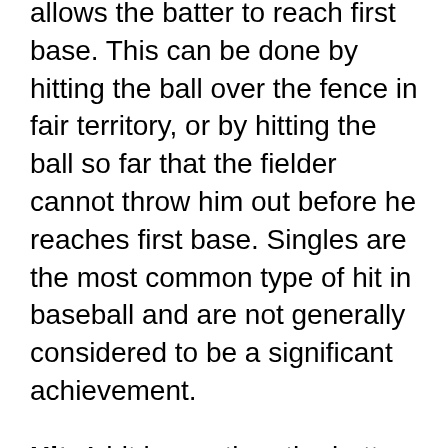allows the batter to reach first base. This can be done by hitting the ball over the fence in fair territory, or by hitting the ball so far that the fielder cannot throw him out before he reaches first base. Singles are the most common type of hit in baseball and are not generally considered to be a significant achievement.
Hit: A hit is any time the batter safely reaches base after hitting the ball into play. This can be done by hitting the ball over the fence for a home run, or by simply putting the ball in play and reaching first base safely. Hits are generally considered to be a positive thing for a batter, as it means they